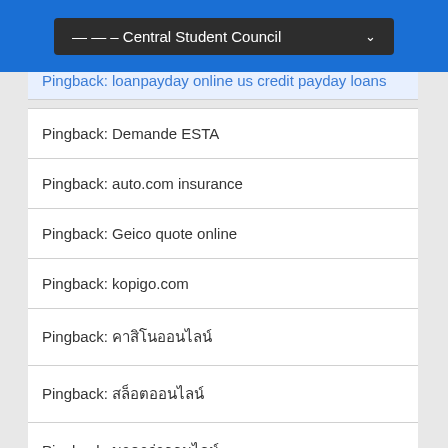— — – Central Student Council
Pingback: loanpayday online us credit payday loans
Pingback: Demande ESTA
Pingback: auto.com insurance
Pingback: Geico quote online
Pingback: kopigo.com
Pingback: คาสิโนออนไลน์
Pingback: สล็อตออนไลน์
Pingback: บาคาร่าออนไลน์
Pingback: DMARC Analyzer